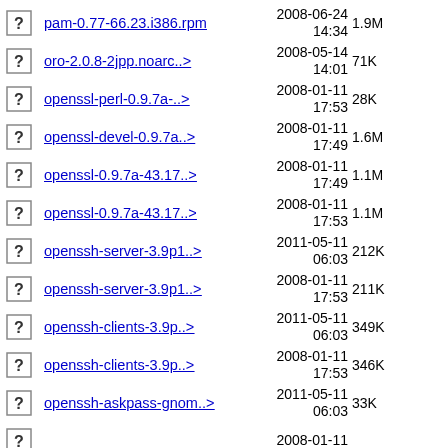pam-0.77-66.23.i386.rpm  2008-06-24 14:34  1.9M
oro-2.0.8-2jpp.noarc..>  2008-05-14 14:01  71K
openssl-perl-0.9.7a-..>  2008-01-11 17:53  28K
openssl-devel-0.9.7a..>  2008-01-11 17:49  1.6M
openssl-0.9.7a-43.17..>  2008-01-11 17:49  1.1M
openssl-0.9.7a-43.17..>  2008-01-11 17:53  1.1M
openssh-server-3.9p1..>  2011-05-11 06:03  212K
openssh-server-3.9p1..>  2008-01-11 17:53  211K
openssh-clients-3.9p..>  2011-05-11 06:03  349K
openssh-clients-3.9p..>  2008-01-11 17:53  346K
openssh-askpass-gnom..>  2011-05-11 06:03  33K
openssh-askpass-...  2008-01-11  ...